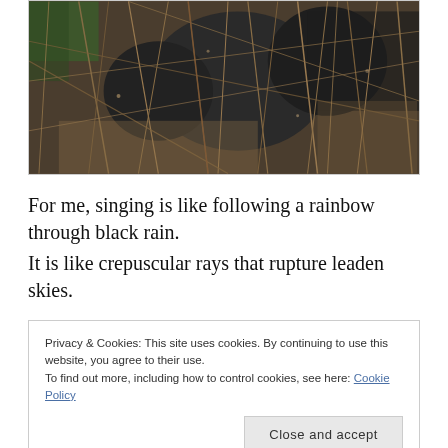[Figure (photo): Close-up photo of weathered dark stone or bronze sculpture partially obscured by dry dead twigs, branches, and dried palm fronds. The scene is dense with organic texture — brown dried plant material against dark sculptural forms and some green foliage visible at top left.]
For me, singing is like following a rainbow through black rain.
It is like crepuscular rays that rupture leaden skies.
Privacy & Cookies: This site uses cookies. By continuing to use this website, you agree to their use.
To find out more, including how to control cookies, see here: Cookie Policy
Close and accept